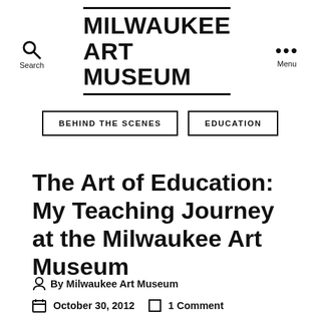MILWAUKEE ART MUSEUM
BEHIND THE SCENES
EDUCATION
The Art of Education: My Teaching Journey at the Milwaukee Art Museum
By Milwaukee Art Museum
October 30, 2012  1 Comment